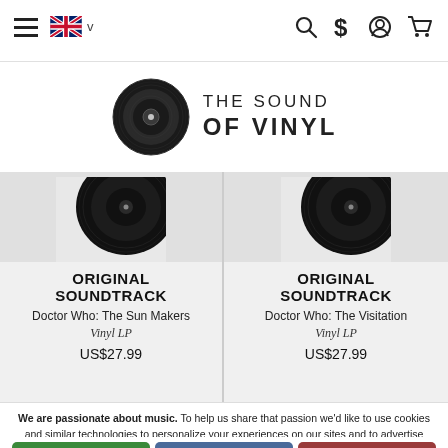Navigation bar with hamburger menu, UK flag language selector, search, dollar sign, account, and cart icons
[Figure (logo): The Sound of Vinyl logo: vinyl record graphic with text 'THE SOUND OF VINYL']
[Figure (photo): Product image: vinyl record partially visible, gray background]
ORIGINAL SOUNDTRACK
Doctor Who: The Sun Makers
Vinyl LP
US$27.99
[Figure (photo): Product image: vinyl record partially visible, gray background]
ORIGINAL SOUNDTRACK
Doctor Who: The Visitation
Vinyl LP
US$27.99
We are passionate about music. To help us share that passion we'd like to use cookies and similar technologies to personalize your experiences on our sites and to advertise on other sites. By clicking Accept All, you agree to our use of analytics, marketing, and advertising cookies. You can revoke your consent at any time. For more information and additional choices click on Cookie Choices below. Privacy Policy.
Accept All
Cookie Choices
Decline All